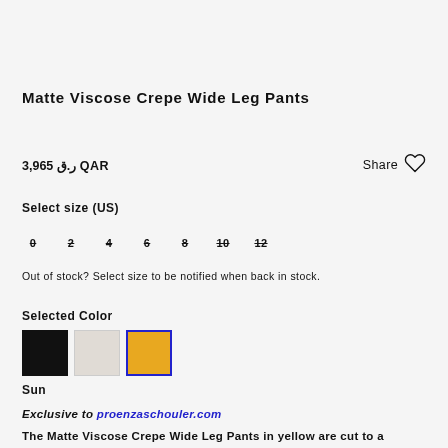Matte Viscose Crepe Wide Leg Pants
3,965 ر.ق QAR
Share ♡
Select size (US)
0  2  4  6  8  10  12
Out of stock? Select size to be notified when back in stock.
Selected Color
[Figure (illustration): Three color swatches: black, beige/light gray, and yellow/gold (currently selected, outlined in blue)]
Sun
Exclusive to proenzaschouler.com
The Matte Viscose Crepe Wide Leg Pants in yellow are cut to a